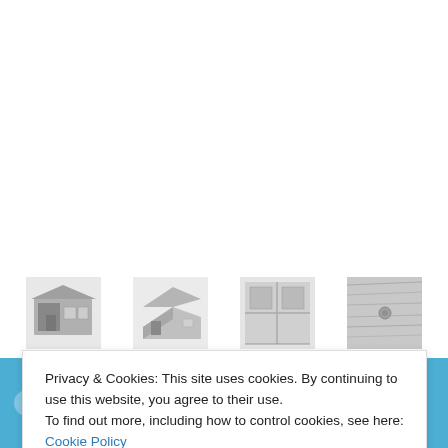[Figure (photo): White upper area of a webpage showing product images (blank/cropped area)]
[Figure (photo): Row of four product thumbnail images: a modular cabin exterior, a side-angled cabin, interior corner view, and a wood/material close-up]
Please Note: Orders placed now will be dispatched on
Privacy & Cookies: This site uses cookies. By continuing to use this website, you agree to their use.
To find out more, including how to control cookies, see here: Cookie Policy
Close and accept